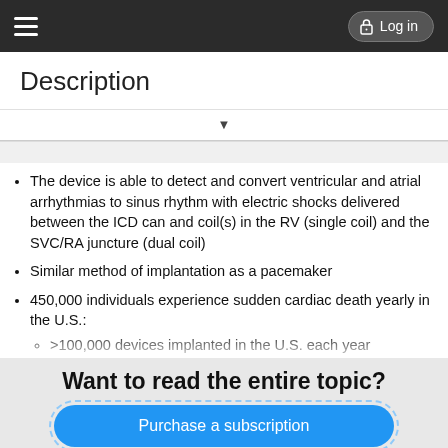≡  Log in
Description
The device is able to detect and convert ventricular and atrial arrhythmias to sinus rhythm with electric shocks delivered between the ICD can and coil(s) in the RV (single coil) and the SVC/RA juncture (dual coil)
Similar method of implantation as a pacemaker
450,000 individuals experience sudden cardiac death yearly in the U.S.:
>100,000 devices implanted in the U.S. each year
ICDs have been shown to reduce mortality more effectively than antiarrhythmic drug therapy in patients with left ventricular
Want to read the entire topic?
Purchase a subscription
I'm already a subscriber
Browse sample topics